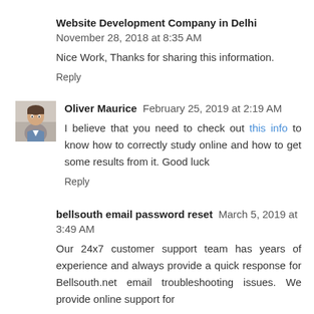Website Development Company in Delhi  November 28, 2018 at 8:35 AM
Nice Work, Thanks for sharing this information.
Reply
Oliver Maurice  February 25, 2019 at 2:19 AM
I believe that you need to check out this info to know how to correctly study online and how to get some results from it. Good luck
Reply
bellsouth email password reset  March 5, 2019 at 3:49 AM
Our 24x7 customer support team has years of experience and always provide a quick response for Bellsouth.net email troubleshooting issues. We provide online support for